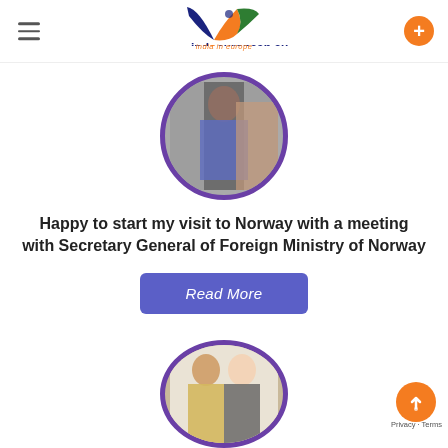indoeuropean.eu - india in europe
[Figure (photo): Circular photo with purple border showing a person, partially cropped]
Happy to start my visit to Norway with a meeting with Secretary General of Foreign Ministry of Norway
Read More
[Figure (photo): Circular photo with purple border showing two women posing together]